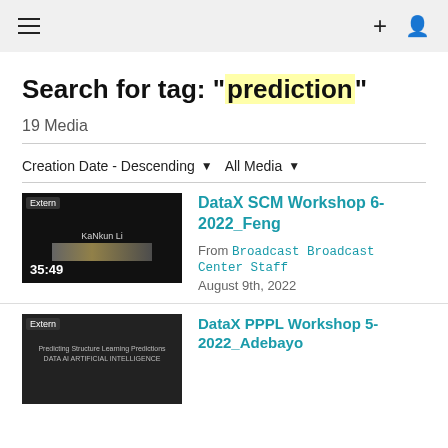Navigation header with hamburger menu, plus icon, and user icon
Search for tag: "prediction"
19 Media
Creation Date - Descending   All Media
[Figure (screenshot): Video thumbnail showing dark background with a horizontal light bar and text 'KaNkun Li', duration 35:49]
DataX SCM Workshop 6-2022_Feng
From Broadcast Broadcast Center Staff
August 9th, 2022
[Figure (screenshot): Video thumbnail showing dark background with small white text, partially visible]
DataX PPPL Workshop 5-2022_Adebayo